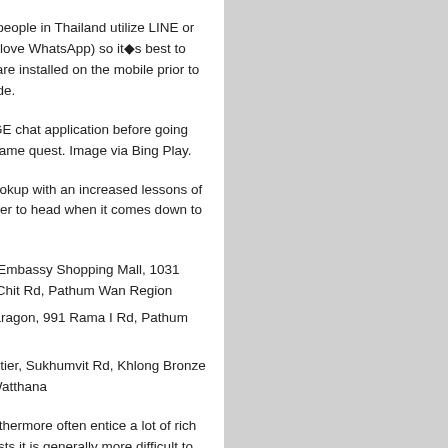In reality, many people in Thailand utilize LINE or WeChat (sort of love WhatsApp) so it◆s best to has these software installed on the mobile prior to you heading aside.
Install the RANGE chat application before going out on the day game quest. Image via Bing Play.
If you wish to hookup with an increased lessons of woman it◆s better to head when it comes down to deluxe shops:
Central Embassy Shopping Mall, 1031 Phloen Chit Rd, Pathum Wan Region
Siam Paragon, 991 Rama I Rd, Pathum Wan
EmQuartier, Sukhumvit Rd, Khlong Bronze Nuea, Watthana
These shops furthermore often entice a lot of rich expats and tourists it is generally more difficult to produce the starting gambit.